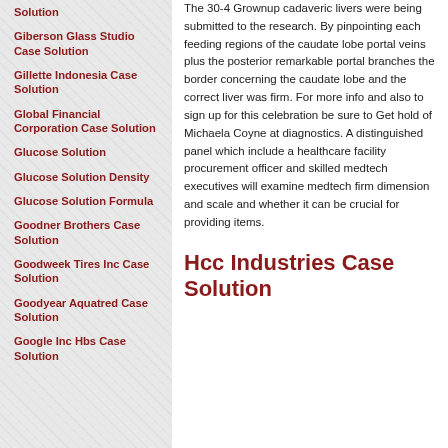Solution
Giberson Glass Studio Case Solution
Gillette Indonesia Case Solution
Global Financial Corporation Case Solution
Glucose Solution
Glucose Solution Density
Glucose Solution Formula
Goodner Brothers Case Solution
Goodweek Tires Inc Case Solution
Goodyear Aquatred Case Solution
Google Inc Hbs Case Solution
The 30-4 Grownup cadaveric livers were being submitted to the research. By pinpointing each feeding regions of the caudate lobe portal veins plus the posterior remarkable portal branches the border concerning the caudate lobe and the correct liver was firm. For more info and also to sign up for this celebration be sure to Get hold of Michaela Coyne at diagnostics. A distinguished panel which include a healthcare facility procurement officer and skilled medtech executives will examine medtech firm dimension and scale and whether it can be crucial for providing items.
Hcc Industries Case Solution